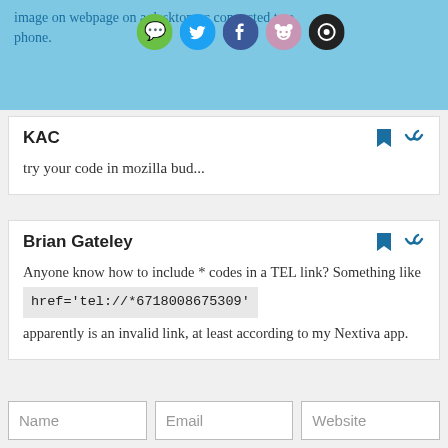image on webpage on a desktop pc connected to a phone.
[Figure (other): Social sharing icons: green message bubble, Twitter bird (blue), Facebook (dark blue), Reddit alien (pink/purple), and a dark circular icon]
KAC
try your code in mozilla bud...
Brian Gateley
Anyone know how to include * codes in a TEL link? Something like href='tel://*6718008675309' apparently is an invalid link, at least according to my Nextiva app.